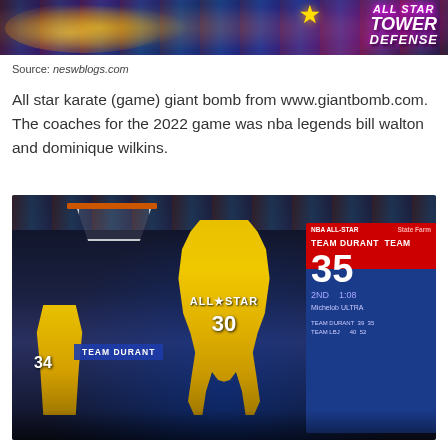[Figure (photo): All Star Tower Defense game banner with colorful purple and blue background with yellow lightning effects and stylized text reading 'ALL STAR TOWER DEFENSE']
Source: neswblogs.com
All star karate (game) giant bomb from www.giantbomb.com. The coaches for the 2022 game was nba legends bill walton and dominique wilkins.
[Figure (photo): NBA All-Star game basketball court photo showing a player wearing yellow All-Star jersey number 30 dunking, with TEAM DURANT scoreboard showing 35 points in the 2nd period, and player number 34 visible in the foreground]